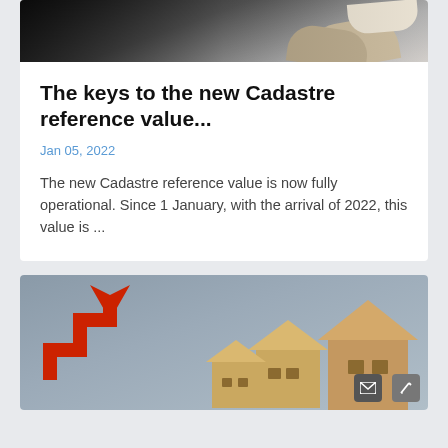[Figure (photo): Top portion of a photo showing hands (business handshake) against a dark to light gradient background]
The keys to the new Cadastre reference value...
Jan 05, 2022
The new Cadastre reference value is now fully operational. Since 1 January, with the arrival of 2022, this value is ...
[Figure (photo): Photo showing a red upward arrow with wooden house models in the background on a grey surface — suggesting rising property values]